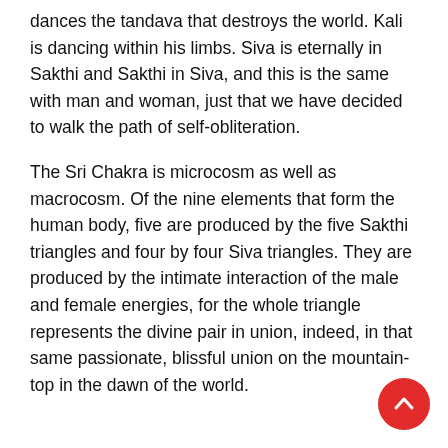dances the tandava that destroys the world. Kali is dancing within his limbs. Siva is eternally in Sakthi and Sakthi in Siva, and this is the same with man and woman, just that we have decided to walk the path of self-obliteration.
The Sri Chakra is microcosm as well as macrocosm. Of the nine elements that form the human body, five are produced by the five Sakthi triangles and four by four Siva triangles. They are produced by the intimate interaction of the male and female energies, for the whole triangle represents the divine pair in union, indeed, in that same passionate, blissful union on the mountain-top in the dawn of the world.